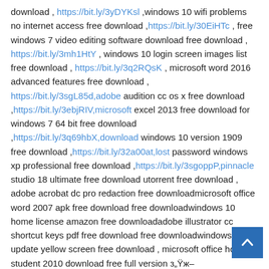download , https://bit.ly/3yDYKsl ,windows 10 wifi problems no internet access free download ,https://bit.ly/30EiHTc , free windows 7 video editing software download free download , https://bit.ly/3mh1HtY , windows 10 login screen images list free download , https://bit.ly/3q2RQsK , microsoft word 2016 advanced features free download , https://bit.ly/3sgL85d,adobe audition cc os x free download ,https://bit.ly/3ebjRIV,microsoft excel 2013 free download for windows 7 64 bit free download ,https://bit.ly/3q69hbX,download windows 10 version 1909 free download ,https://bit.ly/32a00at,lost password windows xp professional free download ,https://bit.ly/3sgoppP,pinnacle studio 18 ultimate free download utorrent free download , adobe acrobat dc pro redaction free downloadmicrosoft office word 2007 apk free download free downloadwindows 10 home license amazon free downloadadobe illustrator cc shortcut keys pdf free download free downloadwindows 10 update yellow screen free download , microsoft office home student 2010 download free full version з„Ÿж–™гґЂг,¦гґirгґrгґjгґ‰cyberlink powerdirector 9 free download full version crack з„Ÿж–™гґЂг,¦гґirгґrгґjгґ‰microsoft windows 10 education n download з„Ÿж–™гґЂг,¦гґirгґrгґjгґ‰adobe photoshop cc 2018 api-ms-win-crt-